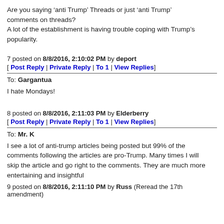Are you saying ‘anti Trump’ Threads or just ‘anti Trump’ comments on threads?
A lot of the establishment is having trouble coping with Trump’s popularity.
7 posted on 8/8/2016, 2:10:02 PM by deport
[ Post Reply | Private Reply | To 1 | View Replies]
To: Gargantua
I hate Mondays!
8 posted on 8/8/2016, 2:11:03 PM by Elderberry
[ Post Reply | Private Reply | To 1 | View Replies]
To: Mr. K
I see a lot of anti-trump articles being posted but 99% of the comments following the articles are pro-Trump. Many times I will skip the article and go right to the comments. They are much more entertaining and insightful
9 posted on 8/8/2016, 2:11:10 PM by Russ (Reread the 17th amendment)